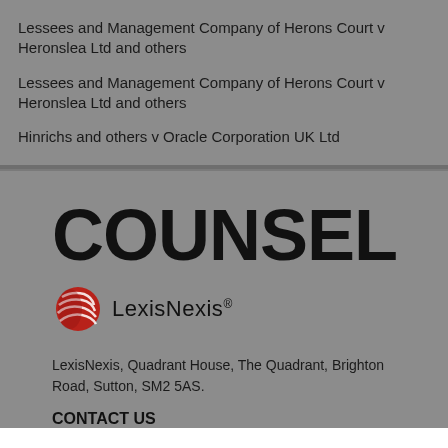Lessees and Management Company of Herons Court v Heronslea Ltd and others
Lessees and Management Company of Herons Court v Heronslea Ltd and others
Hinrichs and others v Oracle Corporation UK Ltd
[Figure (logo): COUNSEL logo in large bold black text on grey background]
[Figure (logo): LexisNexis logo: red globe-like icon with stripes on left, LexisNexis text on right]
LexisNexis, Quadrant House, The Quadrant, Brighton Road, Sutton, SM2 5AS.
CONTACT US